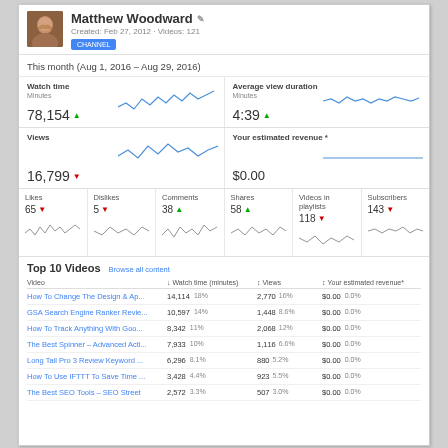[Figure (photo): Profile photo of Matthew Woodward]
Matthew Woodward
Created: Feb 27, 2012 · Videos: 121
CHANNEL
This month (Aug 1, 2016 – Aug 29, 2016)
Watch time
Minutes
78,154 ▲
[Figure (line-chart): Watch time mini sparkline chart]
Average view duration
Minutes
4:39 ▲
[Figure (line-chart): Average view duration mini sparkline chart]
Views
16,799 ▼
[Figure (line-chart): Views mini sparkline chart]
Your estimated revenue *
$0.00
Likes
65 ▼
Dislikes
5 ▼
Comments
38 ▲
Shares
58 ▲
Videos in playlists
118 ▼
Subscribers
143 ▼
Top 10 Videos
Browse all content
| Video | ↓ Watch time (minutes) | ↕ Views | ↕ Your estimated revenue* |
| --- | --- | --- | --- |
| How To Change The Design & Ap... | 14,114  18% | 2,770  16% | $0.00  0.0% |
| GSA Search Engine Ranker Revie... | 10,597  14% | 1,448  8.6% | $0.00  0.0% |
| How To Track Anything With Goo... | 8,342  11% | 2,068  12% | $0.00  0.0% |
| The Best Spinner – Advanced Acti... | 7,933  10% | 1,116  6.6% | $0.00  0.0% |
| Long Tail Pro 3 Review Keyword ... | 6,296  8.1% | 880  5.2% | $0.00  0.0% |
| How To Use IFTTT To Save Time ... | 3,428  4.4% | 923  5.5% | $0.00  0.0% |
| The Best SEO Tools – SEO Street | 2,572  3.3% | 507  3.0% | $0.00  0.0% |